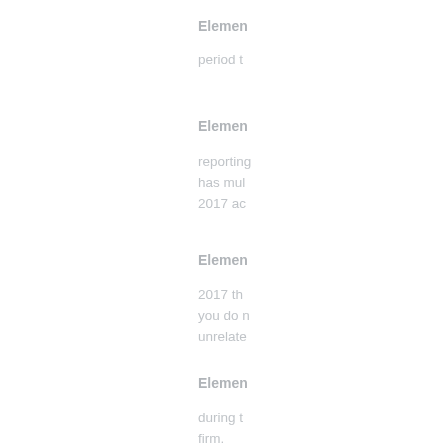Elemen...
period t...
Elemen...
reporting... has mul... 2017 ac...
Elemen...
2017 th... you do n... unrelate...
Elemen...
during t... firm.
Elemen...
execute... agents...